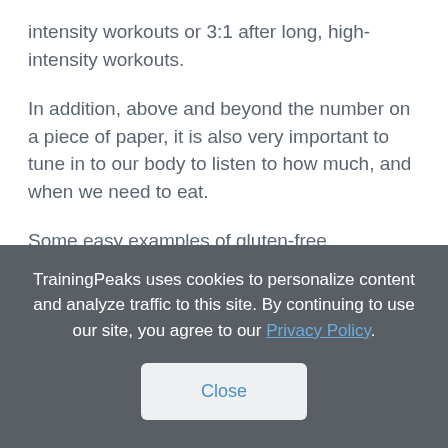intensity workouts or 3:1 after long, high-intensity workouts.
In addition, above and beyond the number on a piece of paper, it is also very important to tune in to our body to listen to how much, and when we need to eat.
Some easy examples of gluten-free, carbohydrate rich snacks to eat before shorter sessions include:
TrainingPeaks uses cookies to personalize content and analyze traffic to this site. By continuing to use our site, you agree to our Privacy Policy.
Close